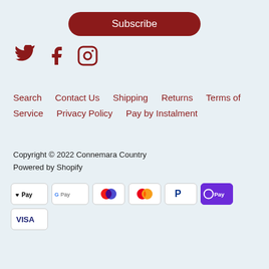Subscribe
[Figure (illustration): Social media icons: Twitter, Facebook, Instagram in dark red]
Search   Contact Us   Shipping   Returns   Terms of Service   Privacy Policy   Pay by Instalment
Copyright © 2022 Connemara Country
Powered by Shopify
[Figure (illustration): Payment method icons: Apple Pay, Google Pay, Maestro, Mastercard, PayPal, OPay, VISA]